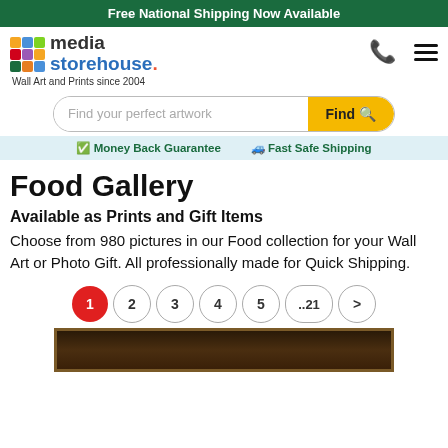Free National Shipping Now Available
[Figure (logo): Media Storehouse logo with colorful grid icon, text 'media storehouse.' and tagline 'Wall Art and Prints since 2004']
[Figure (other): Search bar with 'Find your perfect artwork' placeholder and yellow Find button with magnifier icon]
Money Back Guarantee   Fast Safe Shipping
Food Gallery
Available as Prints and Gift Items
Choose from 980 pictures in our Food collection for your Wall Art or Photo Gift. All professionally made for Quick Shipping.
1  2  3  4  5  ..21  >
[Figure (photo): Bottom portion of a framed picture with dark wooden frame]